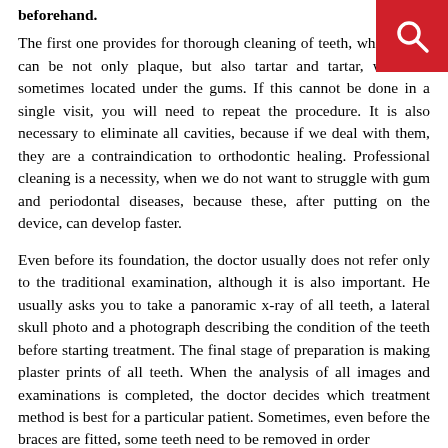beforehand.
The first one provides for thorough cleaning of teeth, which there can be not only plaque, but also tartar and tartar, which is sometimes located under the gums. If this cannot be done in a single visit, you will need to repeat the procedure. It is also necessary to eliminate all cavities, because if we deal with them, they are a contraindication to orthodontic healing. Professional cleaning is a necessity, when we do not want to struggle with gum and periodontal diseases, because these, after putting on the device, can develop faster.
Even before its foundation, the doctor usually does not refer only to the traditional examination, although it is also important. He usually asks you to take a panoramic x-ray of all teeth, a lateral skull photo and a photograph describing the condition of the teeth before starting treatment. The final stage of preparation is making plaster prints of all teeth. When the analysis of all images and examinations is completed, the doctor decides which treatment method is best for a particular patient. Sometimes, even before the braces are fitted, some teeth need to be removed in order